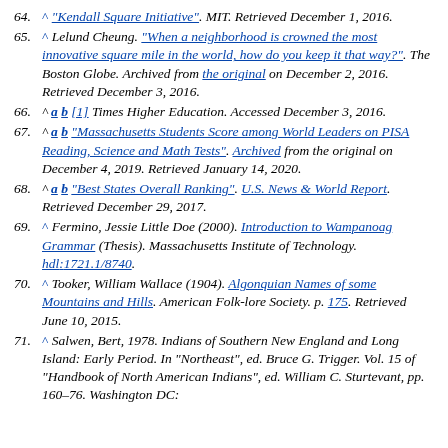64. ^ "Kendall Square Initiative". MIT. Retrieved December 1, 2016.
65. ^ Lelund Cheung. "When a neighborhood is crowned the most innovative square mile in the world, how do you keep it that way?". The Boston Globe. Archived from the original on December 2, 2016. Retrieved December 3, 2016.
66. ^ a b [1] Times Higher Education. Accessed December 3, 2016.
67. ^ a b "Massachusetts Students Score among World Leaders on PISA Reading, Science and Math Tests". Archived from the original on December 4, 2019. Retrieved January 14, 2020.
68. ^ a b "Best States Overall Ranking". U.S. News & World Report. Retrieved December 29, 2017.
69. ^ Fermino, Jessie Little Doe (2000). Introduction to Wampanoag Grammar (Thesis). Massachusetts Institute of Technology. hdl:1721.1/8740.
70. ^ Tooker, William Wallace (1904). Algonquian Names of some Mountains and Hills. American Folk-lore Society. p. 175. Retrieved June 10, 2015.
71. ^ Salwen, Bert, 1978. Indians of Southern New England and Long Island: Early Period. In "Northeast", ed. Bruce G. Trigger. Vol. 15 of "Handbook of North American Indians", ed. William C. Sturtevant, pp. 160–76. Washington DC: